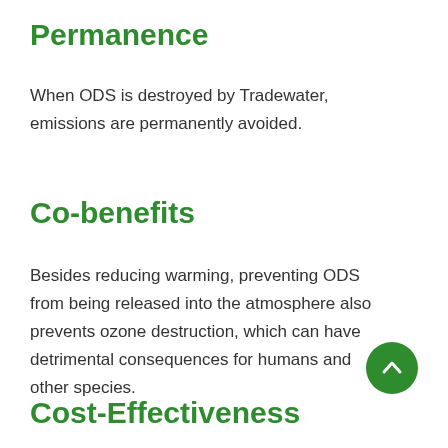Permanence
When ODS is destroyed by Tradewater, emissions are permanently avoided.
Co-benefits
Besides reducing warming, preventing ODS from being released into the atmosphere also prevents ozone destruction, which can have detrimental consequences for humans and other species.
Cost-Effectiveness